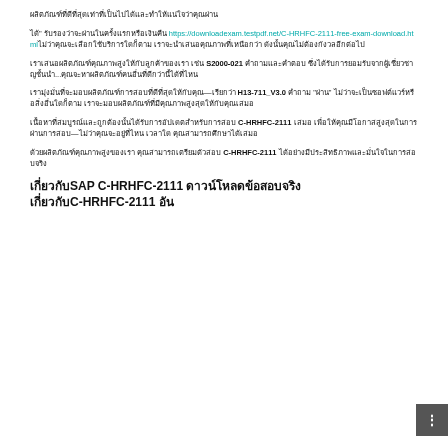ผลิตภัณฑ์ที่ดีที่สุดเท่าที่เป็นไปได้และทำให้แน่ใจว่าคุณผ่าน
ได้" รับรองว่าจะผ่านในครั้งแรกหรือเงินคืน https://downloadexam.testpdf.net/C-HRHFC-2111-free-exam-download.html ไม่ว่าคุณจะเลือกใช้บริการใดก็ตาม เราจะนำเสนอคุณภาพที่เหนือกว่า ดังนั้นคุณไม่ต้องกังวลอีกต่อไป
เราเสนอผลิตภัณฑ์คุณภาพสูงให้กับลูกค้าของเรา เช่น S2000-021 คำถามและคำตอบ ซึ่งได้รับการยอมรับจากผู้เชี่ยวชาญชั้นนำ...คุณจะหาผลิตภัณฑ์คนอื่นที่ดีกว่านี้ได้ที่ไหน
เรามุ่งมั่นที่จะมอบผลิตภัณฑ์การสอบที่ดีที่สุดให้กับคุณ—เรียกว่า H13-711_V3.0 คำถาม "ผ่าน" ไม่ว่าจะเป็นซอฟต์แวร์หรือสิ่งอื่นใดก็ตาม เราจะมอบผลิตภัณฑ์ที่มีคุณภาพสูงสุดให้กับคุณเสมอ
เนื้อหาที่สมบูรณ์และถูกต้องนั้นได้รับการอัปเดตสำหรับการสอบ C-HRHFC-2111 เสมอ เพื่อให้คุณมีโอกาสสูงสุดในการผ่านการสอบ—ไม่ว่าคุณจะอยู่ที่ไหน เวลาใด คุณสามารถศึกษาได้เสมอ
ด้วยผลิตภัณฑ์คุณภาพสูงของเรา คุณสามารถเตรียมตัวสอบ C-HRHFC-2111 ได้อย่างมีประสิทธิภาพและมั่นใจในการสอบจริง
เกี่ยวกับSAP C-HRHFC-2111 ดาวน์โหลดข้อสอบจริง เกี่ยวกับC-HRHFC-2111 อัน